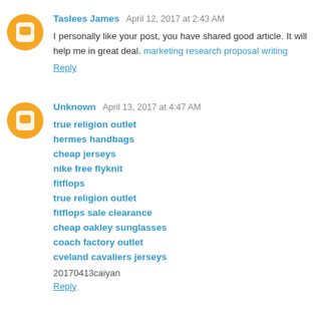Taslees James April 12, 2017 at 2:43 AM
I personally like your post, you have shared good article. It will help me in great deal. marketing research proposal writing
Reply
Unknown April 13, 2017 at 4:47 AM
true religion outlet
hermes handbags
cheap jerseys
nike free flyknit
fitflops
true religion outlet
fitflops sale clearance
cheap oakley sunglasses
coach factory outlet
cveland cavaliers jerseys
20170413caiyan
Reply